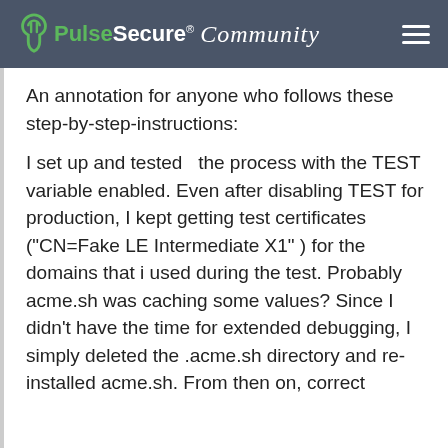Pulse Secure Community
An annotation for anyone who follows these step-by-step-instructions:
I set up and tested  the process with the TEST variable enabled. Even after disabling TEST for production, I kept getting test certificates ("CN=Fake LE Intermediate X1" ) for the domains that i used during the test. Probably acme.sh was caching some values? Since I didn't have the time for extended debugging, I simply deleted the .acme.sh directory and re-installed acme.sh. From then on, correct